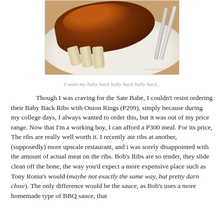[Figure (photo): Photo of Baby Back Ribs on a white plate with utensils, watermark visible at bottom right]
I want my baby back baby back baby back..
Though I was craving for the Sate Babe, I couldn't resist ordering their Baby Back Ribs with Onion Rings (P299), simply because during my college days, I always wanted to order this, but it was out of my price range. Now that I'm a working boy, I can afford a P300 meal. For its price, The ribs are really well worth it. I recently ate ribs at another, (supposedly) more upscale restaurant, and i was sorely disappointed with the amount of actual meat on the ribs. Bob's Ribs are so tender, they slide clean off the bone, the way you'd expect a more expensive place such as Tony Roma's would (maybe not exactly the same way, but pretty darn close). The only difference would be the sauce, as Bob's uses a more homemade type of BBQ sauce, that